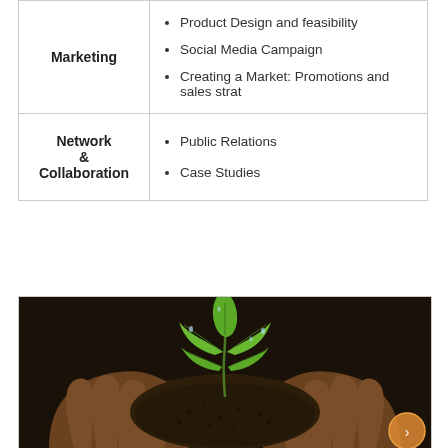| Category | Items |
| --- | --- |
| Marketing | Product Design and feasibility
Social Media Campaign
Creating a Market: Promotions and sales strat |
| Network & Collaboration | Public Relations
Case Studies |
[Figure (photo): Hands cupping dark soil with a young green seedling plant growing from it, photographed close-up against a dark background. An orange circular button/icon appears in the bottom-right corner.]